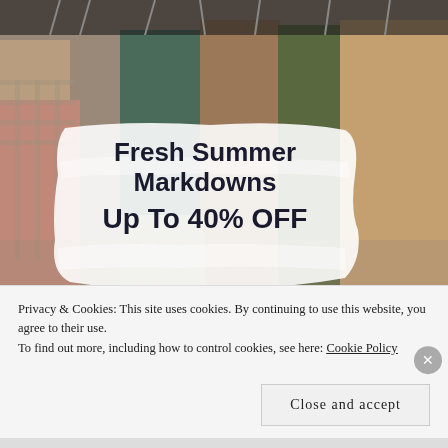[Figure (photo): Close-up photo of various suits and jackets hanging on a rack, showing different colors and textures including plaid, brown, green, and muted tones.]
Fresh Summer Markdowns Up To 40% OFF
Privacy & Cookies: This site uses cookies. By continuing to use this website, you agree to their use.
To find out more, including how to control cookies, see here: Cookie Policy
Close and accept